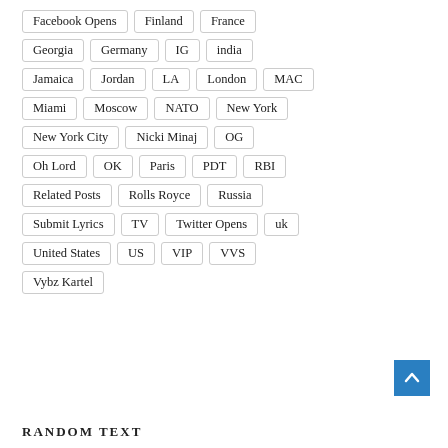Facebook Opens
Finland
France
Georgia
Germany
IG
india
Jamaica
Jordan
LA
London
MAC
Miami
Moscow
NATO
New York
New York City
Nicki Minaj
OG
Oh Lord
OK
Paris
PDT
RBI
Related Posts
Rolls Royce
Russia
Submit Lyrics
TV
Twitter Opens
uk
United States
US
VIP
VVS
Vybz Kartel
RANDOM TEXT